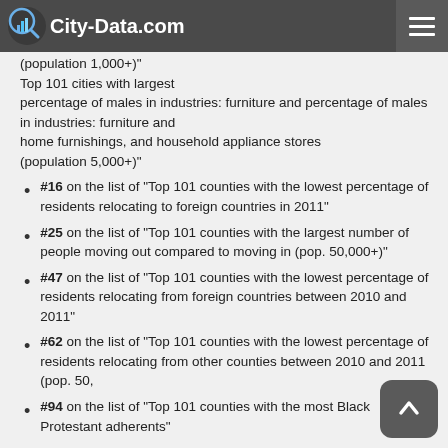City-Data.com
(population 1,000+)"
Top 101 cities with largest percentage of males in industries: furniture and home furnishings, and household appliance stores (population 5,000+)"
#16 on the list of "Top 101 counties with the lowest percentage of residents relocating to foreign countries in 2011"
#25 on the list of "Top 101 counties with the largest number of people moving out compared to moving in (pop. 50,000+)"
#47 on the list of "Top 101 counties with the lowest percentage of residents relocating from foreign countries between 2010 and 2011"
#62 on the list of "Top 101 counties with the lowest percentage of residents relocating from other counties between 2010 and 2011 (pop. 50,000+)"
#94 on the list of "Top 101 counties with the most Black Protestant adherents"